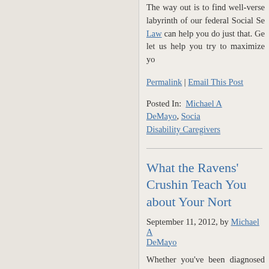The way out is to find well-verse labyrinth of our federal Social Se Law can help you do just that. Ge let us help you try to maximize yo
Permalink | Email This Post
Posted In: Michael A DeMayo, Social Disability Caregivers
What the Ravens' Crushin Teach You about Your Nor
September 11, 2012, by Michael A DeMayo
Whether you've been diagnosed injury, the last thing you need is situation. Unfortunately, the queu Disability, supplemental security i more and more North Carolinians and other "Western diseases."